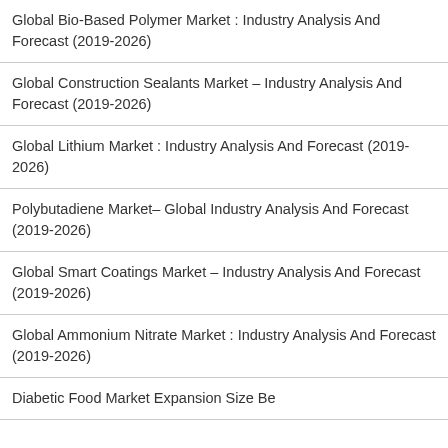Global Bio-Based Polymer Market : Industry Analysis And Forecast (2019-2026)
Global Construction Sealants Market – Industry Analysis And Forecast (2019-2026)
Global Lithium Market : Industry Analysis And Forecast (2019-2026)
Polybutadiene Market– Global Industry Analysis And Forecast (2019-2026)
Global Smart Coatings Market – Industry Analysis And Forecast (2019-2026)
Global Ammonium Nitrate Market : Industry Analysis And Forecast (2019-2026)
Diabetic Food Market Expansion Size Be